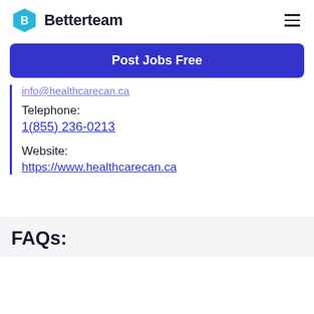Betterteam
Post Jobs Free
info@healthcarecan.ca
Telephone:
1(855) 236-0213
Website:
https://www.healthcarecan.ca
FAQs: